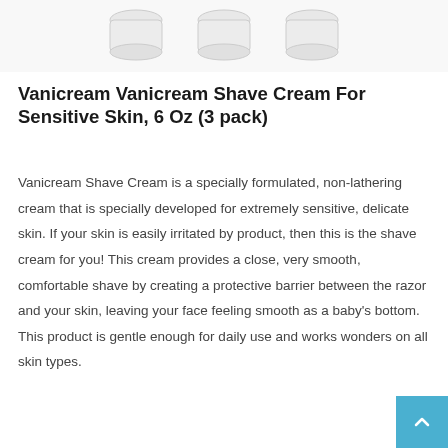[Figure (photo): Three white Vanicream shave cream jars viewed from above, partially visible at the top of the page]
Vanicream Vanicream Shave Cream For Sensitive Skin, 6 Oz (3 pack)
Vanicream Shave Cream is a specially formulated, non-lathering cream that is specially developed for extremely sensitive, delicate skin. If your skin is easily irritated by product, then this is the shave cream for you! This cream provides a close, very smooth, comfortable shave by creating a protective barrier between the razor and your skin, leaving your face feeling smooth as a baby's bottom. This product is gentle enough for daily use and works wonders on all skin types.